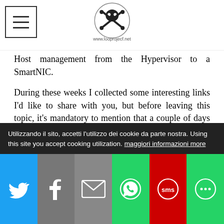www.looprojecf.net (logo)
Host management from the Hypervisor to a SmartNIC.
During these weeks I collected some interesting links I'd like to share with you, but before leaving this topic, it's mandatory to mention that a couple of days after the event, in VMware Flings the long-awaited ESXi release for ARM is finally available: https://flings.vmware.com/esxi-arm-edition.
Links:
https://www.vmware.com/company/news/updat
Utilizzando il sito, accetti l'utilizzo dei cookie da parte nostra. Using this site you accept cooking utilization. maggiori informazioni more
Share bar: Twitter, Facebook, Email, WhatsApp, SMS, More